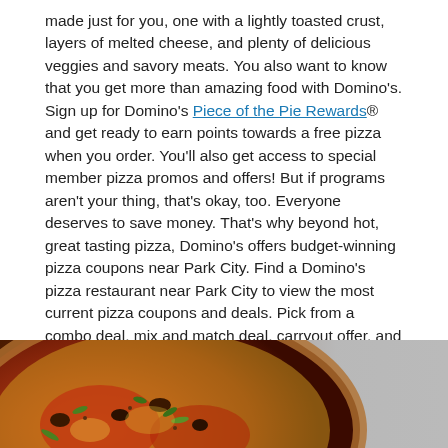made just for you, one with a lightly toasted crust, layers of melted cheese, and plenty of delicious veggies and savory meats. You also want to know that you get more than amazing food with Domino's. Sign up for Domino's Piece of the Pie Rewards® and get ready to earn points towards a free pizza when you order. You'll also get access to special member pizza promos and offers! But if programs aren't your thing, that's okay, too. Everyone deserves to save money. That's why beyond hot, great tasting pizza, Domino's offers budget-winning pizza coupons near Park City. Find a Domino's pizza restaurant near Park City to view the most current pizza coupons and deals. Pick from a combo deal, mix and match deal, carryout offer, and more! Your local store's pizza offers are updated regularly. Domino's is your pizza place near Park City! Get the food you want, how and when you want it. So, is it time to turn your hunger into happiness? Order drool-inducing chicken, pizza, pasta, or sandwiches today! Your local Domino's offers both delivery and carryout near Park City!
[Figure (photo): Photo of a pizza with toppings in the lower portion of the page, with a partial view of another item to the right]